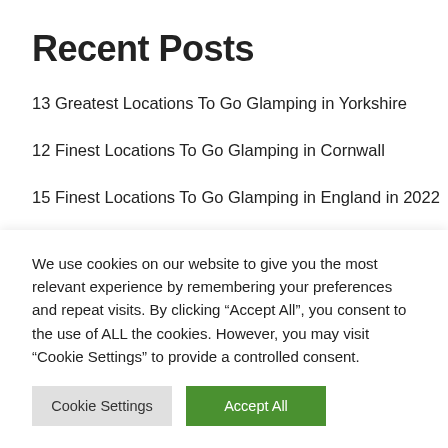Recent Posts
13 Greatest Locations To Go Glamping in Yorkshire
12 Finest Locations To Go Glamping in Cornwall
15 Finest Locations To Go Glamping in England in 2022
TOP 15 Glamping Massachusetts Websites in 2022
We use cookies on our website to give you the most relevant experience by remembering your preferences and repeat visits. By clicking “Accept All”, you consent to the use of ALL the cookies. However, you may visit “Cookie Settings” to provide a controlled consent.